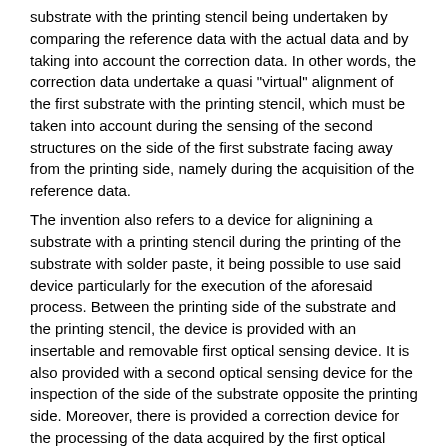substrate with the printing stencil being undertaken by comparing the reference data with the actual data and by taking into account the correction data. In other words, the correction data undertake a quasi "virtual" alignment of the first substrate with the printing stencil, which must be taken into account during the sensing of the second structures on the side of the first substrate facing away from the printing side, namely during the acquisition of the reference data.
The invention also refers to a device for alignining a substrate with a printing stencil during the printing of the substrate with solder paste, it being possible to use said device particularly for the execution of the aforesaid process. Between the printing side of the substrate and the printing stencil, the device is provided with an insertable and removable first optical sensing device. It is also provided with a second optical sensing device for the inspection of the side of the substrate opposite the printing side. Moreover, there is provided a correction device for the processing of the data acquired by the first optical sensing device and of the inspection data of the second optical sensing device and which serves to provide a positional correction for the substrate and the